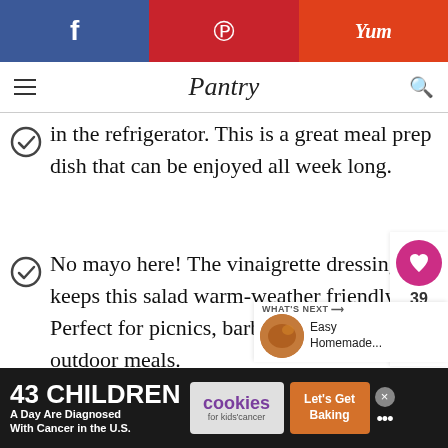Social share bar: Facebook, Pinterest, Yum
Pantry
in the refrigerator. This is a great meal prep dish that can be enjoyed all week long.
No mayo here! The vinaigrette dressing keeps this salad warm-weather friendly. Perfect for picnics, barbecues, and lazy outdoor meals.
Easily customizable. Swap in
[Figure (infographic): Heart/like button showing 39 likes, and a share button on the right side]
[Figure (infographic): What's Next promo box: Easy Homemade... with food photo]
[Figure (infographic): Advertisement banner: 43 CHILDREN A Day Are Diagnosed With Cancer in the U.S. / cookies for kids cancer / Let's Get Baking]